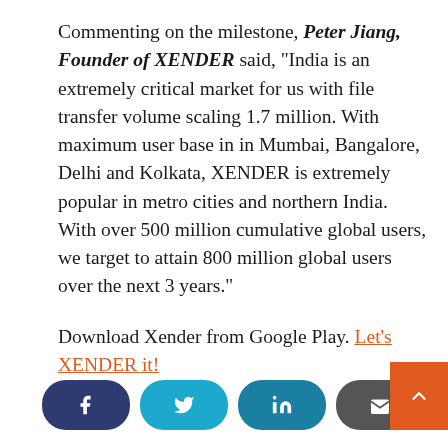Commenting on the milestone, Peter Jiang, Founder of XENDER said, "India is an extremely critical market for us with file transfer volume scaling 1.7 million. With maximum user base in in Mumbai, Bangalore, Delhi and Kolkata, XENDER is extremely popular in metro cities and northern India. With over 500 million cumulative global users, we target to attain 800 million global users over the next 3 years."
Download Xender from Google Play. Let's XENDER it!
[Figure (infographic): Social media share buttons: Facebook (dark blue), Twitter (cyan), LinkedIn (teal), Email (dark gray), and an orange scroll-to-top button]